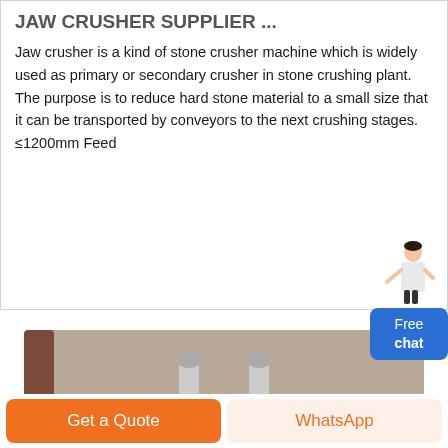JAW CRUSHER SUPPLIER ...
Jaw crusher is a kind of stone crusher machine which is widely used as primary or secondary crusher in stone crushing plant. The purpose is to reduce hard stone material to a small size that it can be transported by conveyors to the next crushing stages. ≤1200mm Feed
[Figure (photo): Photo of jaw/cone crusher machinery with blue hydraulic cylinders, white metal body, industrial setting outdoors]
Free chat
Get a Quote
WhatsApp